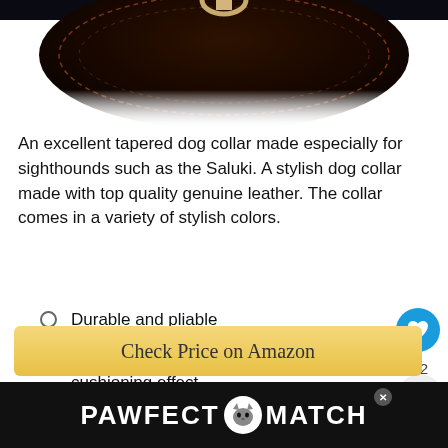[Figure (photo): Close-up photo of a dark brown leather dog collar with stitching and metal D-ring hardware, partially cropped at top]
An excellent tapered dog collar made especially for sighthounds such as the Saluki. A stylish dog collar made with top quality genuine leather. The collar comes in a variety of stylish colors.
Durable and pliable
Genuine leather lining for a soft cushioning effect
Solid nickel-plated hardware
[Figure (screenshot): Check Price on Amazon button with golden/yellow background]
[Figure (logo): PAWFECT MATCH advertisement banner with cat face logo on dark background]